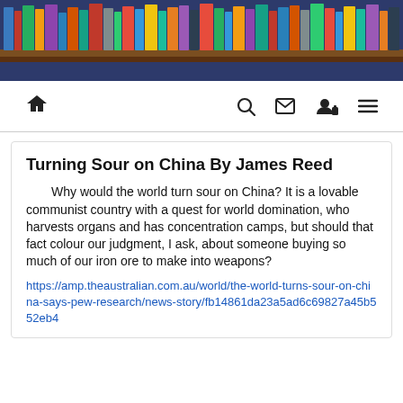[Figure (photo): Header banner showing bookshelves filled with colorful books, with a dark navy blue border at the bottom]
Navigation bar with home, search, mail, user/lock, and menu icons
Turning Sour on China By James Reed
Why would the world turn sour on China? It is a lovable communist country with a quest for world domination, who harvests organs and has concentration camps, but should that fact colour our judgment, I ask, about someone buying so much of our iron ore to make into weapons?
https://amp.theaustralian.com.au/world/the-world-turns-sour-on-china-says-pew-research/news-story/fb14861da23a5ad6c69827a45b552eb4